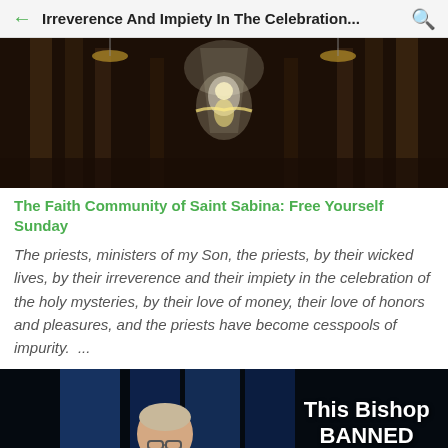Irreverence And Impiety In The Celebration...
[Figure (photo): Interior of a church with columns and a glowing religious figure in the center, chandelier lights visible]
The Faith Community of Saint Sabina: Free Yourself Sunday
The priests, ministers of my Son, the priests, by their wicked lives, by their irreverence and their impiety in the celebration of the holy mysteries, by their love of money, their love of honors and pleasures, and the priests have become cesspools of impurity. ...
[Figure (photo): A man (bishop) standing in front of blue curtains with text overlay reading 'This Bishop BANNED CATHOLICS']